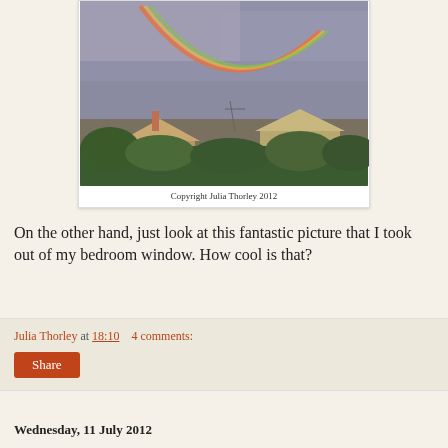[Figure (photo): Photograph of a rainbow over rooftops and trees, taken from a bedroom window. Purple-grey cloudy sky with a vivid rainbow arc. Houses with chimneys and lush green trees in the foreground.]
Copyright Julia Thorley 2012
On the other hand, just look at this fantastic picture that I took out of my bedroom window. How cool is that?
Julia Thorley at 18:10    4 comments:
Share
Wednesday, 11 July 2012